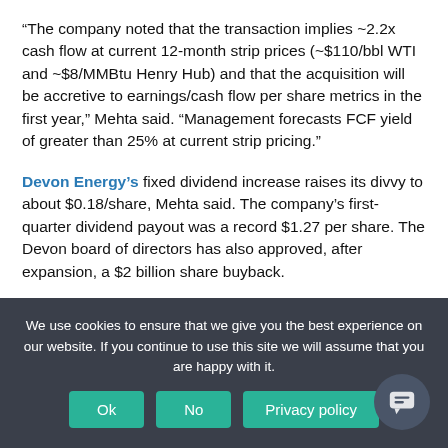“The company noted that the transaction implies ~2.2x cash flow at current 12-month strip prices (~$110/bbl WTI and ~$8/MMBtu Henry Hub) and that the acquisition will be accretive to earnings/cash flow per share metrics in the first year,” Mehta said. “Management forecasts FCF yield of greater than 25% at current strip pricing.”
Devon Energy’s fixed dividend increase raises its divvy to about $0.18/share, Mehta said. The company’s first-quarter dividend payout was a record $1.27 per share. The Devon board of directors has also approved, after expansion, a $2 billion share buyback.
The all-cash deal also means Devon will maintain its “top-tier” balance sheet with expected net debt to EBITDAY of 0.2x by
We use cookies to ensure that we give you the best experience on our website. If you continue to use this site we will assume that you are happy with it.